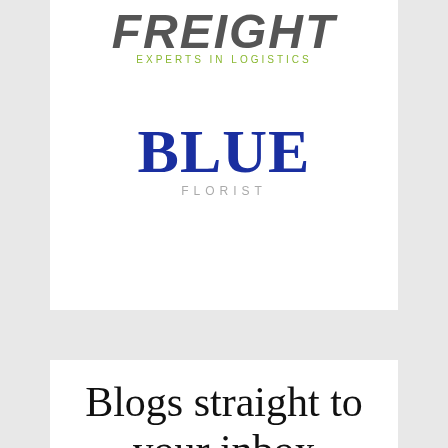[Figure (logo): Freight logistics company logo with 'FREIGHT' in large bold italic grey letters and 'EXPERTS IN LOGISTICS' in small green spaced capitals below]
[Figure (logo): Blue Florist logo with 'BLUE' in large dark blue serif font and 'FLORIST' in small spaced grey capitals below]
Blogs straight to your inbox